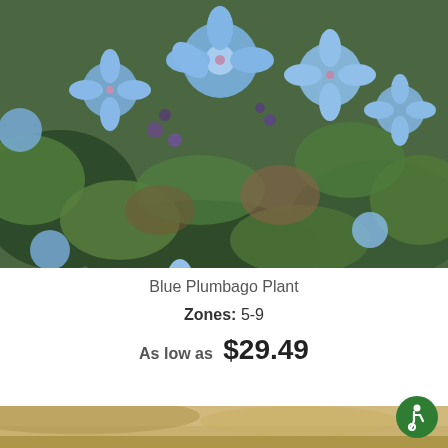[Figure (photo): Close-up photo of blue plumbago flowers with green leaves in background]
Blue Plumbago Plant
Zones: 5-9
As low as  $29.49
[Figure (photo): Partial view of a garden plant at the bottom of the page]
[Figure (illustration): Green accessibility icon button in bottom right corner]